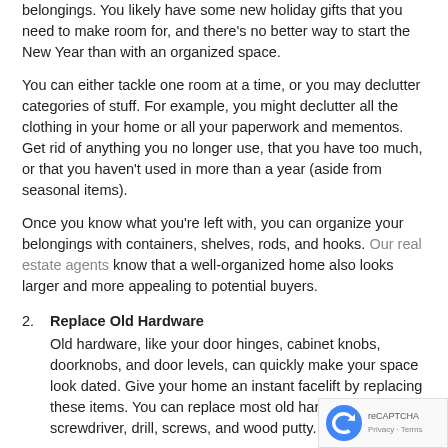belongings. You likely have some new holiday gifts that you need to make room for, and there's no better way to start the New Year than with an organized space.
You can either tackle one room at a time, or you may declutter categories of stuff. For example, you might declutter all the clothing in your home or all your paperwork and mementos. Get rid of anything you no longer use, that you have too much, or that you haven't used in more than a year (aside from seasonal items).
Once you know what you're left with, you can organize your belongings with containers, shelves, rods, and hooks. Our real estate agents know that a well-organized home also looks larger and more appealing to potential buyers.
2. Replace Old Hardware
Old hardware, like your door hinges, cabinet knobs, doorknobs, and door levels, can quickly make your space look dated. Give your home an instant facelift by replacing these items. You can replace most old hardware with a screwdriver, drill, screws, and wood putty.
3. Service Your Ceiling Fans
Did you know that you need to change the direction of your ceiling fans during the winter months? When the